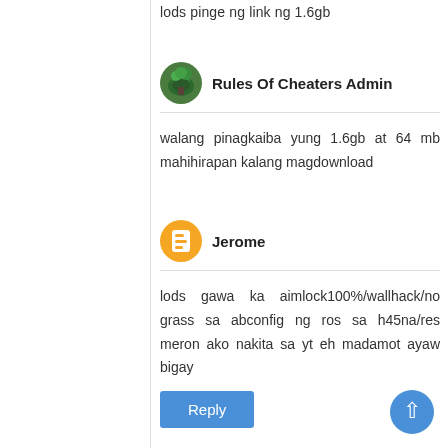lods pinge ng link ng 1.6gb
Rules Of Cheaters Admin
walang pinagkaiba yung 1.6gb at 64 mb mahihirapan kalang magdownload
Jerome
lods gawa ka aimlock100%/wallhack/no grass sa abconfig ng ros sa h45na/res meron ako nakita sa yt eh madamot ayaw bigay
Reply